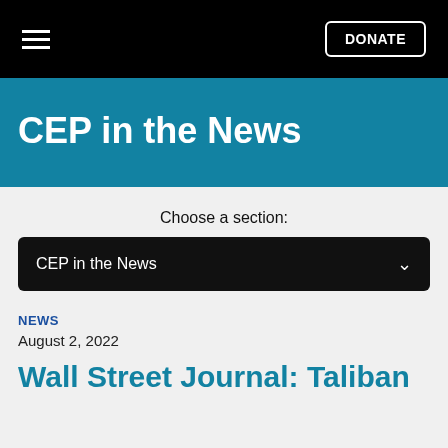≡  DONATE
CEP in the News
Choose a section:
CEP in the News
NEWS
August 2, 2022
Wall Street Journal: Taliban